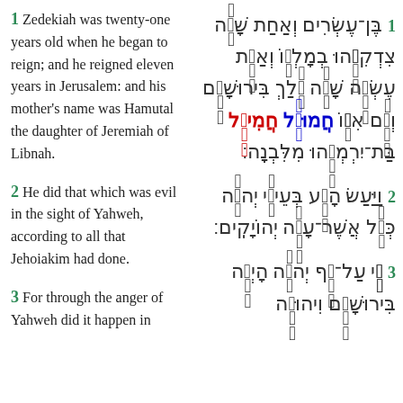1 Zedekiah was twenty-one years old when he began to reign; and he reigned eleven years in Jerusalem: and his mother's name was Hamutal the daughter of Jeremiah of Libnah.
Hebrew verse 1 (right column)
2 He did that which was evil in the sight of Yahweh, according to all that Jehoiakim had done.
Hebrew verse 2 (right column)
3 For through the anger of Yahweh did it happen in
Hebrew verse 3 (right column)